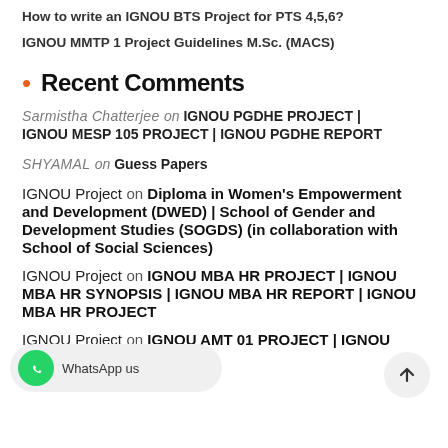How to write an IGNOU BTS Project for PTS 4,5,6?
IGNOU MMTP 1 Project Guidelines M.Sc. (MACS)
Recent Comments
Sarmistha Chatterjee on IGNOU PGDHE PROJECT | IGNOU MESP 105 PROJECT | IGNOU PGDHE REPORT
SHYAMAL on Guess Papers
IGNOU Project on Diploma in Women’s Empowerment and Development (DWED) | School of Gender and Development Studies (SOGDS) (in collaboration with School of Social Sciences)
IGNOU Project on IGNOU MBA HR PROJECT | IGNOU MBA HR SYNOPSIS | IGNOU MBA HR REPORT | IGNOU MBA HR PROJECT
IGNOU Project on IGNOU AMT 01 PROJECT | IGNOU AMT